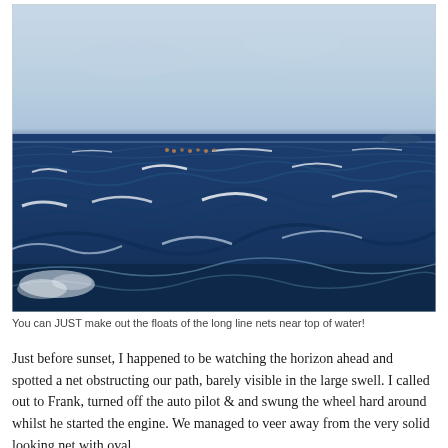[Figure (photo): Photograph of a rough, dark blue ocean with choppy waves and white foam. The horizon divides the image with a pale blue-grey sky above and dark ocean below. Small floats of long line nets are barely visible near the top of the water.]
You can JUST make out the floats of the long line nets near top of water!
Just before sunset, I happened to be watching the horizon ahead and spotted a net obstructing our path, barely visible in the large swell. I called out to Frank, turned off the auto pilot & and swung the wheel hard around whilst he started the engine. We managed to veer away from the very solid looking net with oval